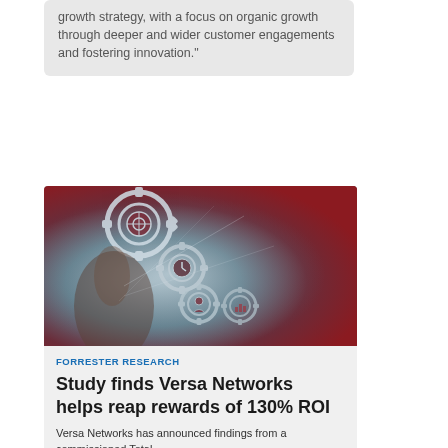growth strategy, with a focus on organic growth through deeper and wider customer engagements and fostering innovation."
[Figure (photo): Close-up photo of a hand touching glowing gear icons in a dark blue and red abstract digital background, with various symbols on the gears including a target, a person, a chart, and a stopwatch.]
FORRESTER RESEARCH
Study finds Versa Networks helps reap rewards of 130% ROI
Versa Networks has announced findings from a commissioned Total